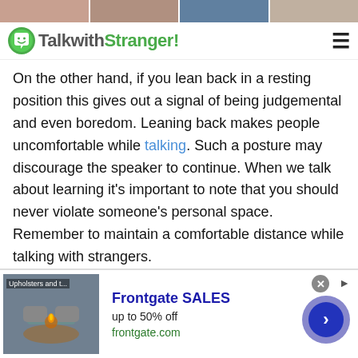[Figure (photo): Top strip of partial face/people photos]
TalkwithStranger!
On the other hand, if you lean back in a resting position this gives out a signal of being judgemental and even boredom. Leaning back makes people uncomfortable while talking. Such a posture may discourage the speaker to continue. When we talk about learning it's important to note that you should never violate someone's personal space. Remember to maintain a comfortable distance while talking with strangers.
T - Touch.
In almost all cultures across the world, the most
[Figure (screenshot): Advertisement banner for Frontgate SALES up to 50% off, frontgate.com, with outdoor furniture image]